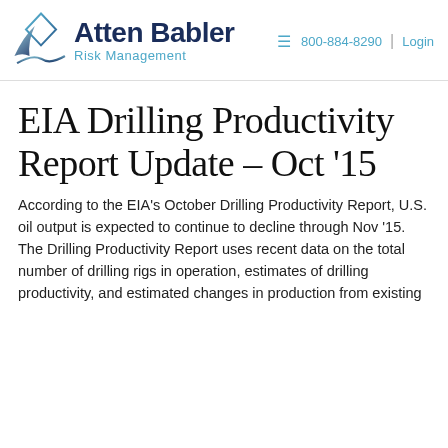[Figure (logo): Atten Babler Risk Management logo with geometric diamond/arch SVG icon in blue-gray gradient and bold navy text]
≡   800-884-8290  |  Login
EIA Drilling Productivity Report Update – Oct '15
According to the EIA's October Drilling Productivity Report, U.S. oil output is expected to continue to decline through Nov '15. The Drilling Productivity Report uses recent data on the total number of drilling rigs in operation, estimates of drilling productivity, and estimated changes in production from existing